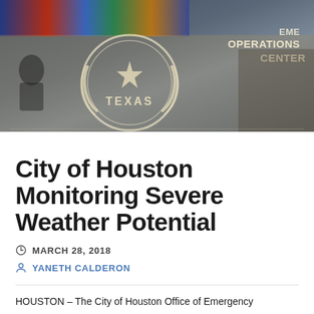[Figure (photo): Photo of the Houston Emergency Operations Center glass door with the Texas state seal etched on it. Behind the glass, monitor screens and an EOC sign are visible reading 'EMERGENCY OPERATIONS CENTER'.]
City of Houston Monitoring Severe Weather Potential
MARCH 28, 2018
YANETH CALDERON
HOUSTON – The City of Houston Office of Emergency